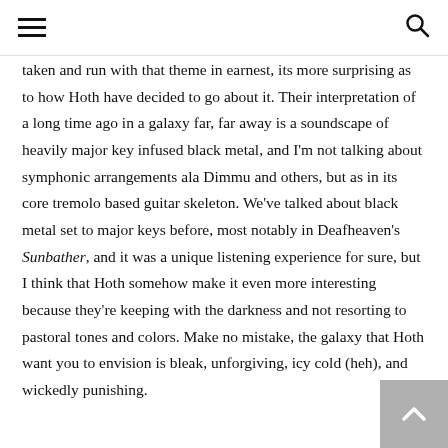[hamburger menu icon] [search icon]
taken and run with that theme in earnest, its more surprising as to how Hoth have decided to go about it. Their interpretation of a long time ago in a galaxy far, far away is a soundscape of heavily major key infused black metal, and I'm not talking about symphonic arrangements ala Dimmu and others, but as in its core tremolo based guitar skeleton. We've talked about black metal set to major keys before, most notably in Deafheaven's Sunbather, and it was a unique listening experience for sure, but I think that Hoth somehow make it even more interesting because they're keeping with the darkness and not resorting to pastoral tones and colors. Make no mistake, the galaxy that Hoth want you to envision is bleak, unforgiving, icy cold (heh), and wickedly punishing.